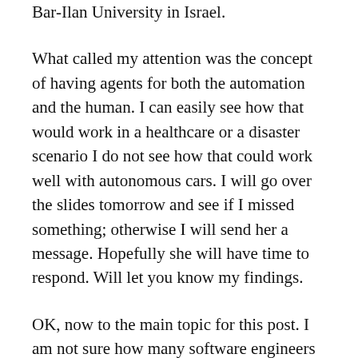Bar-Ilan University in Israel.
What called my attention was the concept of having agents for both the automation and the human. I can easily see how that would work in a healthcare or a disaster scenario I do not see how that could work well with autonomous cars. I will go over the slides tomorrow and see if I missed something; otherwise I will send her a message. Hopefully she will have time to respond. Will let you know my findings.
OK, now to the main topic for this post. I am not sure how many software engineers have to implement the merge sort algorithm as part of their work. That does not mean that one should not have a working idea of it. The